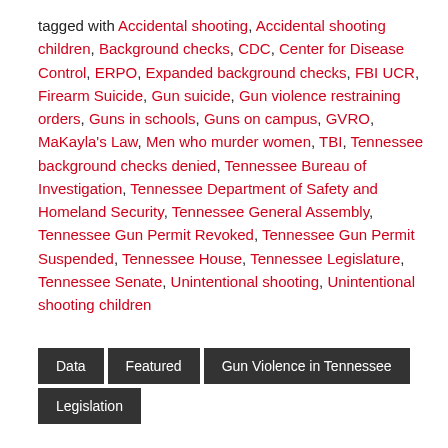tagged with Accidental shooting, Accidental shooting children, Background checks, CDC, Center for Disease Control, ERPO, Expanded background checks, FBI UCR, Firearm Suicide, Gun suicide, Gun violence restraining orders, Guns in schools, Guns on campus, GVRO, MaKayla's Law, Men who murder women, TBI, Tennessee background checks denied, Tennessee Bureau of Investigation, Tennessee Department of Safety and Homeland Security, Tennessee General Assembly, Tennessee Gun Permit Revoked, Tennessee Gun Permit Suspended, Tennessee House, Tennessee Legislature, Tennessee Senate, Unintentional shooting, Unintentional shooting children
Data
Featured
Gun Violence in Tennessee
Legislation